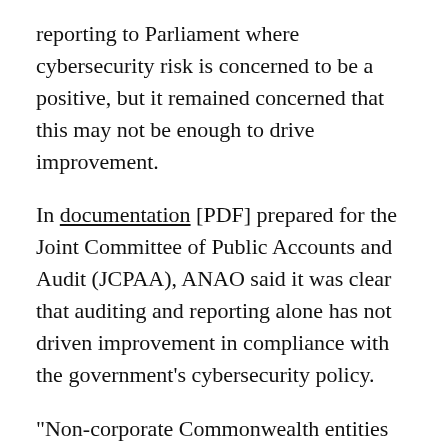reporting to Parliament where cybersecurity risk is concerned to be a positive, but it remained concerned that this may not be enough to drive improvement.
In documentation [PDF] prepared for the Joint Committee of Public Accounts and Audit (JCPAA), ANAO said it was clear that auditing and reporting alone has not driven improvement in compliance with the government's cybersecurity policy.
"Non-corporate Commonwealth entities have not been held to account for not meeting the mandatory cybersecurity requirements under PSPF Policy 10," it wrote, in reference to the Protective Security Policy Framework (PSPF) Policy 10, which is